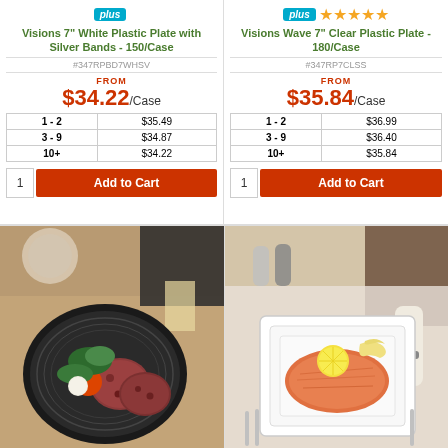[Figure (photo): Product listing for Visions 7 inch White Plastic Plate with Silver Bands - 150/Case showing plus badge, SKU, pricing table, and Add to Cart button]
[Figure (photo): Product listing for Visions Wave 7 inch Clear Plastic Plate - 180/Case showing plus badge, 5 star rating, SKU, pricing table, and Add to Cart button]
[Figure (photo): Photo of black plate with salami, tomato and greens on a table setting]
[Figure (photo): Photo of white square plate with salmon, lemon and pasta on a table setting]